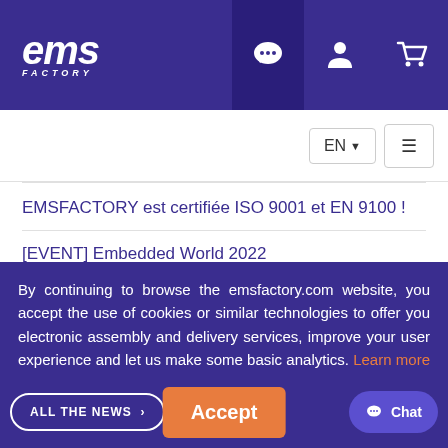EMS FACTORY — header with logo and navigation icons
EN ☰ — language and menu controls
EMSFACTORY est certifiée ISO 9001 et EN 9100 !
[EVENT] Embedded World 2022
[ARTICLE] Nos solutions face à la pénurie
10/20 Europe's Fastest Growing Companies 2022
By continuing to browse the emsfactory.com website, you accept the use of cookies or similar technologies to offer you electronic assembly and delivery services, improve your user experience and let us make some basic analytics. Learn more where Configure Cookies
ALL THE NEWS > Accept Chat